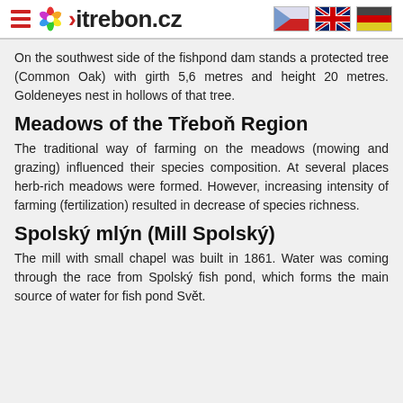>itrebon.cz
On the southwest side of the fishpond dam stands a protected tree (Common Oak) with girth 5,6 metres and height 20 metres. Goldeneyes nest in hollows of that tree.
Meadows of the Třeboň Region
The traditional way of farming on the meadows (mowing and grazing) influenced their species composition. At several places herb-rich meadows were formed. However, increasing intensity of farming (fertilization) resulted in decrease of species richness.
Spolský mlýn (Mill Spolský)
The mill with small chapel was built in 1861. Water was coming through the race from Spolský fish pond, which forms the main source of water for fish pond Svět.